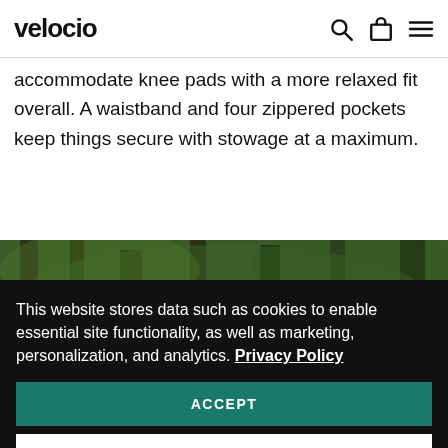velocio
accommodate knee pads with a more relaxed fit overall. A waistband and four zippered pockets keep things secure with stowage at a maximum.
[Figure (photo): A cyclist wearing a helmet riding through a dense forest with tall trees and green foliage.]
This website stores data such as cookies to enable essential site functionality, as well as marketing, personalization, and analytics. Privacy Policy
ACCEPT
DENY